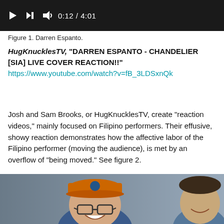[Figure (screenshot): Video player control bar showing play button, skip button, volume icon, and timestamp 0:12 / 4:01 on dark background]
Figure 1. Darren Espanto.
HugKnucklesTV, "DARREN ESPANTO - CHANDELIER [SIA] LIVE COVER REACTION!!" https://www.youtube.com/watch?v=fB_3LDSxnQk
Josh and Sam Brooks, or HugKnucklesTV, create "reaction videos," mainly focused on Filipino performers. Their effusive, showy reaction demonstrates how the affective labor of the Filipino performer (moving the audience), is met by an overflow of "being moved." See figure 2.
[Figure (screenshot): Screenshot of a reaction video showing two people, one wearing an orange cap and glasses, smiling at the camera]